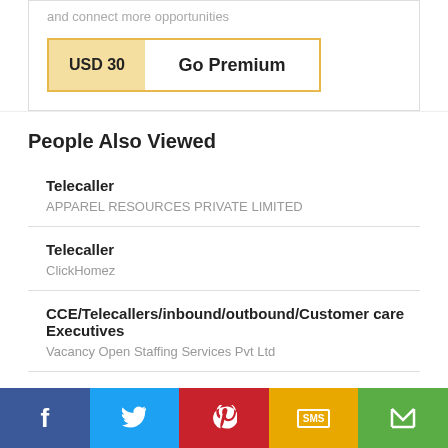and connect more opportunities
USD 30   Go Premium
People Also Viewed
Telecaller
APPAREL RESOURCES PRIVATE LIMITED
Telecaller
ClickHomez
CCE/Telecallers/inbound/outbound/Customer care Executives
Vacancy Open Staffing Services Pvt Ltd
Facebook | Twitter | Pinterest | SMS | Share